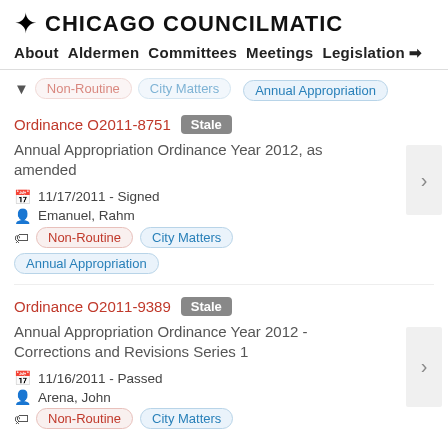CHICAGO COUNCILMATIC
About Aldermen Committees Meetings Legislation →
Non-Routine  City Matters  Annual Appropriation
Ordinance O2011-8751  Stale
Annual Appropriation Ordinance Year 2012, as amended
11/17/2011 - Signed
Emanuel, Rahm
Non-Routine  City Matters  Annual Appropriation
Ordinance O2011-9389  Stale
Annual Appropriation Ordinance Year 2012 - Corrections and Revisions Series 1
11/16/2011 - Passed
Arena, John
Non-Routine  City Matters